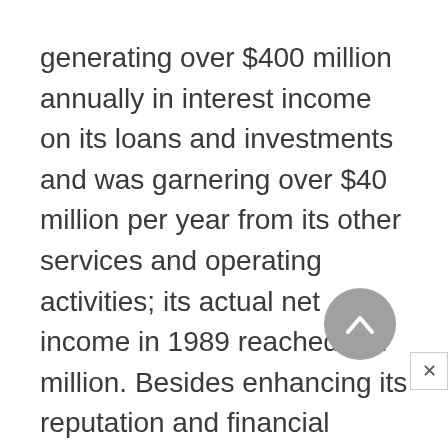generating over $400 million annually in interest income on its loans and investments and was garnering over $40 million per year from its other services and operating activities; its actual net income in 1989 reached $57 million. Besides enhancing its reputation and financial strength in the region during the 1980s, First Hawaiian had also established a role as an innovator in the local banking industry. It was the first institution, for example, to introduce full service